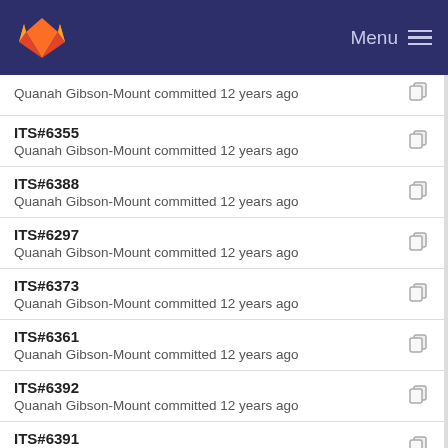GitLab Menu
Quanah Gibson-Mount committed 12 years ago
ITS#6355
Quanah Gibson-Mount committed 12 years ago
ITS#6388
Quanah Gibson-Mount committed 12 years ago
ITS#6297
Quanah Gibson-Mount committed 12 years ago
ITS#6373
Quanah Gibson-Mount committed 12 years ago
ITS#6361
Quanah Gibson-Mount committed 12 years ago
ITS#6392
Quanah Gibson-Mount committed 12 years ago
ITS#6391
Quanah Gibson-Mount committed 12 years ago